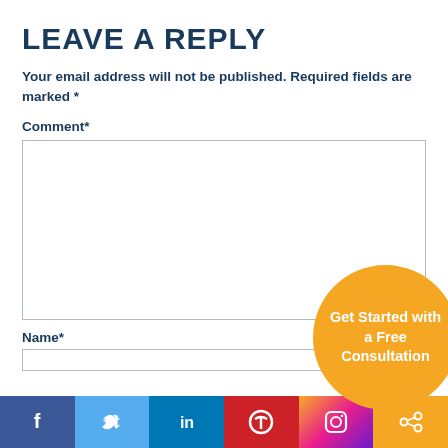LEAVE A REPLY
Your email address will not be published. Required fields are marked *
Comment *
Name *
[Figure (infographic): Orange circular CTA button with white text: Get Started with a Free Consultation]
[Figure (infographic): Social sharing bar with Facebook, Twitter, LinkedIn, Pinterest, Instagram, and share buttons]